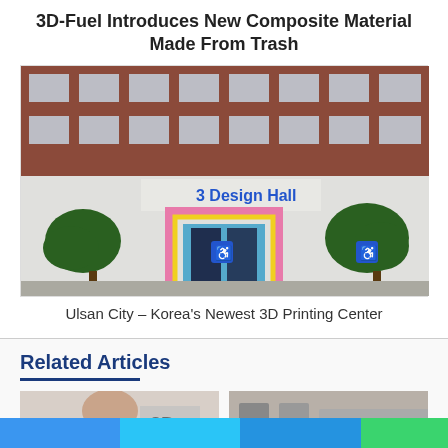3D-Fuel Introduces New Composite Material Made From Trash
[Figure (photo): Exterior photo of a brick building with a colorful entrance labeled '3 Design Hall' in blue and white text, with decorative trees and wheelchair accessibility signs.]
Ulsan City – Korea's Newest 3D Printing Center
Related Articles
[Figure (photo): Partial thumbnail image of a person and 3D text, partially visible at bottom of page.]
[Figure (photo): Partial thumbnail image, partially visible at bottom of page.]